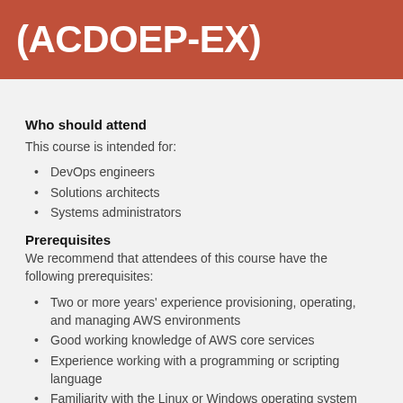(ACDOEP-EX)
Who should attend
This course is intended for:
DevOps engineers
Solutions architects
Systems administrators
Prerequisites
We recommend that attendees of this course have the following prerequisites:
Two or more years' experience provisioning, operating, and managing AWS environments
Good working knowledge of AWS core services
Experience working with a programming or scripting language
Familiarity with the Linux or Windows operating system and AWS command line interface